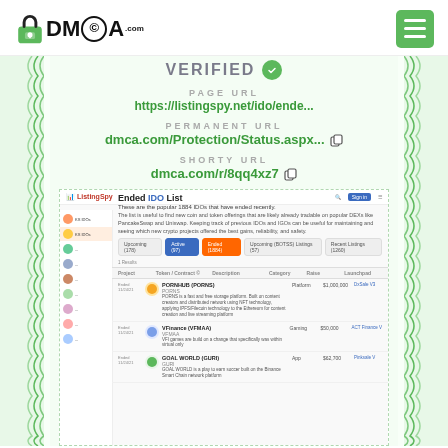[Figure (logo): DMCA.com logo with padlock icon on the left, and a hamburger menu button (green) on the right]
Verified
PAGE URL
https://listingspy.net/ido/ende...
PERMANENT URL
dmca.com/Protection/Status.aspx...
SHORTY URL
dmca.com/r/8qq4xz7
[Figure (screenshot): Screenshot of listingspy.net showing 'Ended IDO List' page with a table of ended IDO crypto projects]